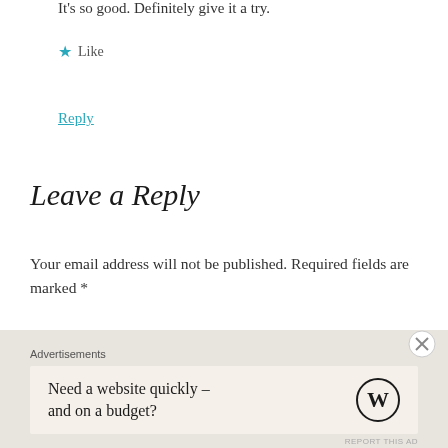It's so good. Definitely give it a try.
★ Like
Reply
Leave a Reply
Your email address will not be published. Required fields are marked *
Comment *
Advertisements
Need a website quickly – and on a budget?